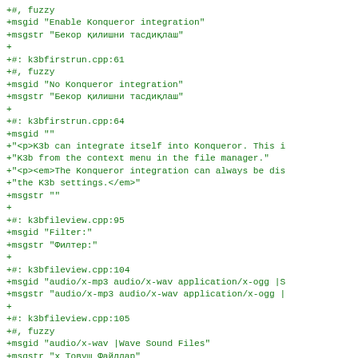+#, fuzzy
+msgid "Enable Konqueror integration"
+msgstr "Бекор қилишни тасдиқлаш"
+
+#: k3bfirstrun.cpp:61
+#, fuzzy
+msgid "No Konqueror integration"
+msgstr "Бекор қилишни тасдиқлаш"
+
+#: k3bfirstrun.cpp:64
+msgid ""
+"<p>K3b can integrate itself into Konqueror. This i
+"K3b from the context menu in the file manager."
+"<p><em>The Konqueror integration can always be dis
+"the K3b settings.</em>"
+msgstr ""
+
+#: k3bfileview.cpp:95
+msgid "Filter:"
+msgstr "Филтер:"
+
+#: k3bfileview.cpp:104
+msgid "audio/x-mp3 audio/x-wav application/x-ogg |S
+msgstr "audio/x-mp3 audio/x-wav application/x-ogg |
+
+#: k3bfileview.cpp:105
+#, fuzzy
+msgid "audio/x-wav |Wave Sound Files"
+msgstr "x Товуш Файллар"
+